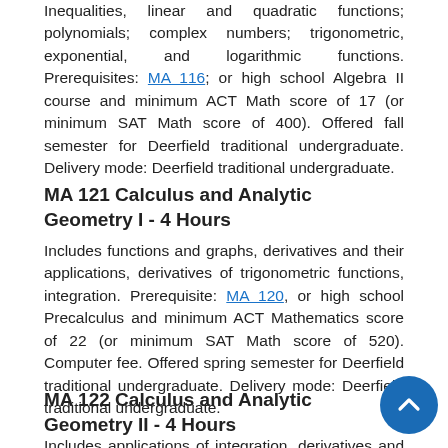Inequalities, linear and quadratic functions; polynomials; complex numbers; trigonometric, exponential, and logarithmic functions. Prerequisites: MA 116; or high school Algebra II course and minimum ACT Math score of 17 (or minimum SAT Math score of 400). Offered fall semester for Deerfield traditional undergraduate. Delivery mode: Deerfield traditional undergraduate.
MA 121 Calculus and Analytic Geometry I - 4 Hours
Includes functions and graphs, derivatives and their applications, derivatives of trigonometric functions, integration. Prerequisite: MA 120, or high school Precalculus and minimum ACT Mathematics score of 22 (or minimum SAT Math score of 520). Computer fee. Offered spring semester for Deerfield traditional undergraduate. Delivery mode: Deerfield traditional undergraduate.
MA 122 Calculus and Analytic Geometry II - 4 Hours
Includes applications of integration, derivatives and integrals of...